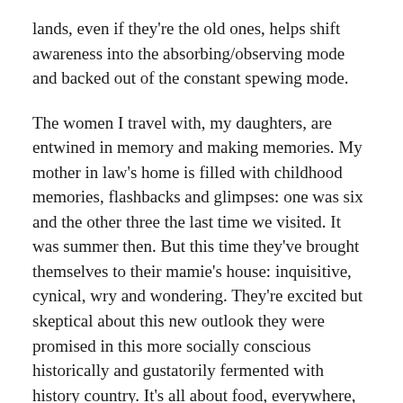lands, even if they're the old ones, helps shift awareness into the absorbing/observing mode and backed out of the constant spewing mode.
The women I travel with, my daughters, are entwined in memory and making memories. My mother in law's home is filled with childhood memories, flashbacks and glimpses: one was six and the other three the last time we visited. It was summer then. But this time they've brought themselves to their mamie's house: inquisitive, cynical, wry and wondering. They're excited but skeptical about this new outlook they were promised in this more socially conscious historically and gustatorily fermented with history country. It's all about food, everywhere, every day.
They want to believe this land holds lure, romance–and it does–but they're wise enough to know, despite the